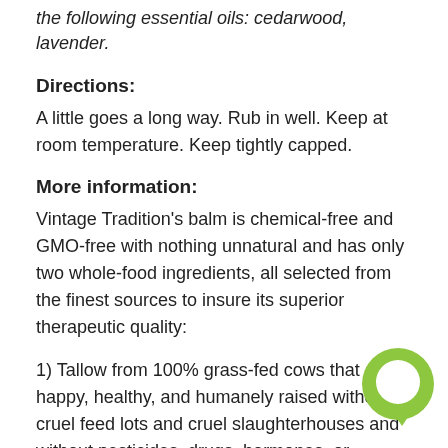the following essential oils: cedarwood, lavender.
Directions:
A little goes a long way. Rub in well. Keep at room temperature. Keep tightly capped.
More information:
Vintage Tradition's balm is chemical-free and GMO-free with nothing unnatural and has only two whole-food ingredients, all selected from the finest sources to insure its superior therapeutic quality:
1) Tallow from 100% grass-fed cows that are happy, healthy, and humanely raised without cruel feed lots and cruel slaughterhouses and without pesticides, drugs, hormones, or chemicals of any kind.
2) Cold-pressed extra virgin olive oil from California